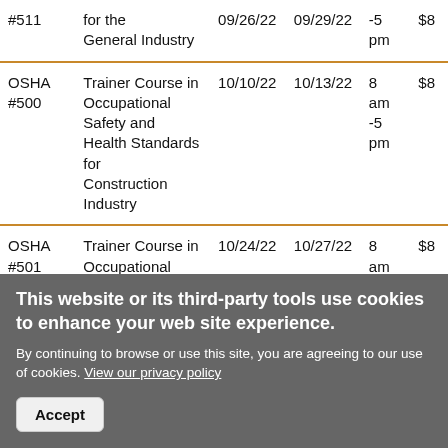| Course | Title | Start Date | End Date | Time | Cost |
| --- | --- | --- | --- | --- | --- |
| #511 | for the General Industry | 09/26/22 | 09/29/22 | -5 pm | $8 |
| OSHA #500 | Trainer Course in Occupational Safety and Health Standards for Construction Industry | 10/10/22 | 10/13/22 | 8 am -5 pm | $8 |
| OSHA #501 | Trainer Course in Occupational Safety and Health Standards for General Industry | 10/24/22 | 10/27/22 | 8 am -5 pm | $8 |
|  |  |  |  | 8 |  |
This website or its third-party tools use cookies to enhance your web site experience. By continuing to browse or use this site, you are agreeing to our use of cookies. View our privacy policy